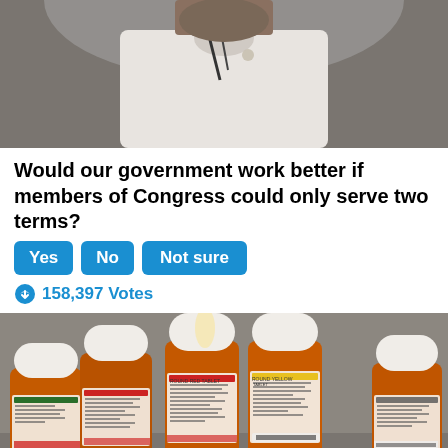[Figure (photo): Woman in white jacket speaking at podium with microphone]
Would our government work better if members of Congress could only serve two terms?
[Figure (infographic): Three blue buttons labeled Yes, No, Not sure]
158,397 Votes
[Figure (photo): Multiple prescription pill bottles with labels, Walgreens pharmacy bottles]